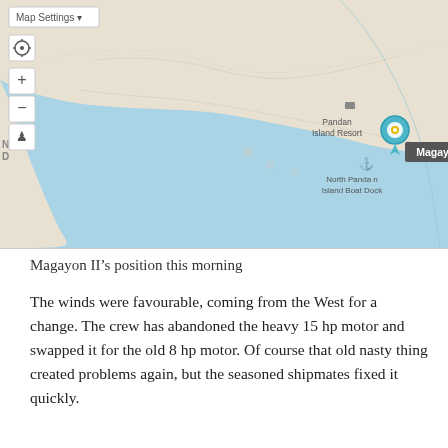[Figure (map): Google Maps screenshot showing Pandan Island area with a blue location marker labeled 'Magayon', Pandan Island Resort label, North Pandan Island Boat Dock anchor symbol, map controls (Map Settings, zoom, locate buttons), and partial text 'NDAN D' on left edge. Island landmass in beige/tan with surrounding blue water.]
Magayon II's position this morning
The winds were favourable, coming from the West for a change. The crew has abandoned the heavy 15 hp motor and swapped it for the old 8 hp motor. Of course that old nasty thing created problems again, but the seasoned shipmates fixed it quickly.